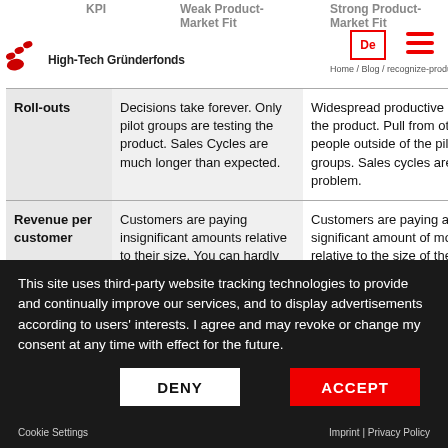KPI | Weak Product-Market Fit | Strong Product-Market Fit
[Figure (logo): High-Tech Gründerfonds logo with red dots]
Home / Blog / recognize-product-market-fit
| KPI | Weak Product-Market Fit | Strong Product-Market Fit |
| --- | --- | --- |
| Roll-outs | Decisions take forever. Only pilot groups are testing the product. Sales Cycles are much longer than expected. | Widespread productive use of the product. Pull from other people outside of the pilot groups. Sales cycles are not a problem. |
| Revenue per customer | Customers are paying insignificant amounts relative to their size. You can hardly cover your high B2B sales costs. | Customers are paying a significant amount of money relative to the size of their company or department. |
This site uses third-party website tracking technologies to provide and continually improve our services, and to display advertisements according to users' interests. I agree and may revoke or change my consent at any time with effect for the future.
DENY
ACCEPT
Cookie Settings
Imprint | Privacy Policy